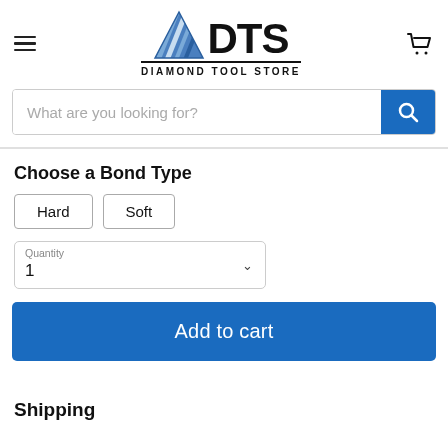[Figure (logo): Diamond Tool Store logo with diagonal stripe diamond graphic and bold DTS text, subtitle DIAMOND TOOL STORE]
What are you looking for?
Choose a Bond Type
Hard   Soft
Quantity
1
Add to cart
Shipping